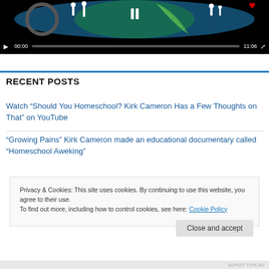[Figure (screenshot): Video player showing a thumbnail with globe/family icons, playback controls showing 00:00 current time and 11:06 total duration]
RECENT POSTS
Watch “Should You Homeschool? Kirk Cameron Has a Few Thoughts on That” on YouTube
“Growing Pains” Kirk Cameron made an educational documentary called “Homeschool Aweking”
Privacy & Cookies: This site uses cookies. By continuing to use this website, you agree to their use.
To find out more, including how to control cookies, see here: Cookie Policy
Close and accept